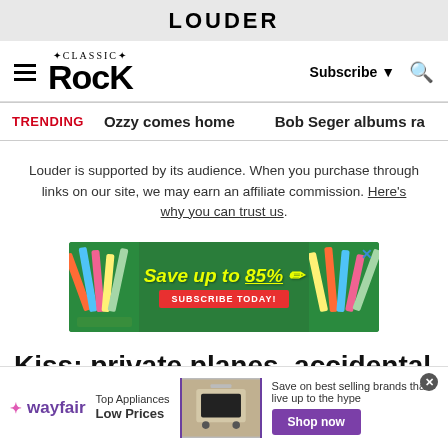LOUDER
[Figure (logo): Classic Rock magazine logo with hamburger menu, Subscribe button, and search icon]
TRENDING   Ozzy comes home   Bob Seger albums ra
Louder is supported by its audience. When you purchase through links on our site, we may earn an affiliate commission. Here's why you can trust us.
[Figure (infographic): Advertisement banner: green background with pencils/school supplies, text 'Save up to 85%' in yellow italic, red 'SUBSCRIBE TODAY!' button]
Kiss: private planes, accidental
[Figure (infographic): Wayfair advertisement: Top Appliances Low Prices, Save on best selling brands that live up to the hype, Shop now button]